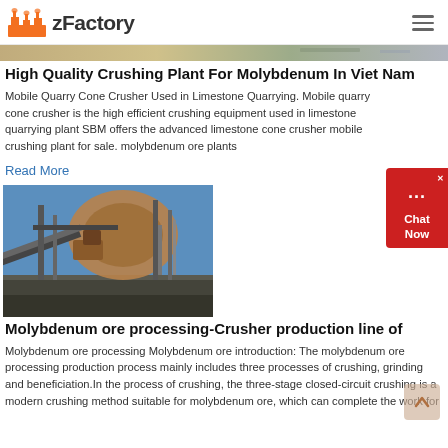zFactory
[Figure (photo): Horizontal banner image of industrial/crushing plant]
High Quality Crushing Plant For Molybdenum In Viet Nam
Mobile Quarry Cone Crusher Used in Limestone Quarrying. Mobile quarry cone crusher is the high efficient crushing equipment used in limestone quarrying plant SBM offers the advanced limestone cone crusher mobile crushing plant for sale. molybdenum ore plants
Read More
[Figure (photo): Industrial factory/crushing plant with large curved metal structure and conveyor against blue sky]
Molybdenum ore processing-Crusher production line of
Molybdenum ore processing Molybdenum ore introduction: The molybdenum ore processing production process mainly includes three processes of crushing, grinding and beneficiation.In the process of crushing, the three-stage closed-circuit crushing is a modern crushing method suitable for molybdenum ore, which can complete the work for